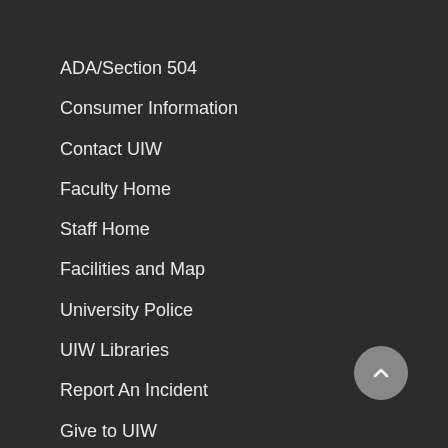ADA/Section 504
Consumer Information
Contact UIW
Faculty Home
Staff Home
Facilities and Map
University Police
UIW Libraries
Report An Incident
Give to UIW
Privacy Policy and Disclaimer
Title IX
Employment